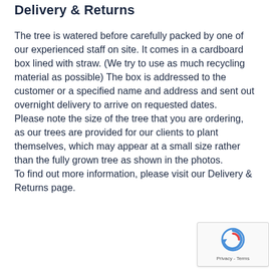Delivery & Returns
The tree is watered before carefully packed by one of our experienced staff on site. It comes in a cardboard box lined with straw. (We try to use as much recycling material as possible) The box is addressed to the customer or a specified name and address and sent out overnight delivery to arrive on requested dates.
Please note the size of the tree that you are ordering, as our trees are provided for our clients to plant themselves, which may appear at a small size rather than the fully grown tree as shown in the photos.
To find out more information, please visit our Delivery & Returns page.
[Figure (logo): reCAPTCHA badge with circular arrow logo and Privacy - Terms text]